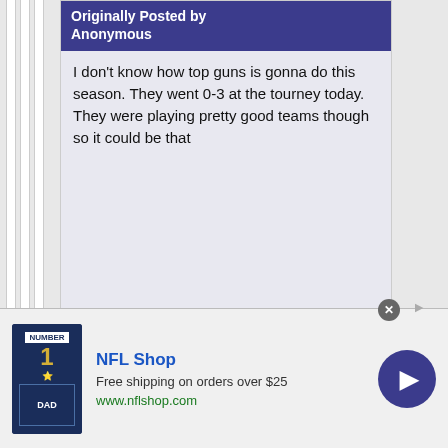Originally Posted by Anonymous
I don't know how top guns is gonna do this season. They went 0-3 at the tourney today. They were playing pretty good teams though so it could be that
They didn't play a team within the top-14 based on this summer's rankings.
Prime Time is solid team, Monster is okay. I would put Top Guns around 25-35, they were 36th last season.
Of course, Fall Ball means equal playing time, kids missing for soccer,
[Figure (screenshot): NFL Shop advertisement banner with a Dallas Cowboys jersey, text 'NFL Shop', 'Free shipping on orders over $25', 'www.nflshop.com', and a blue arrow button]